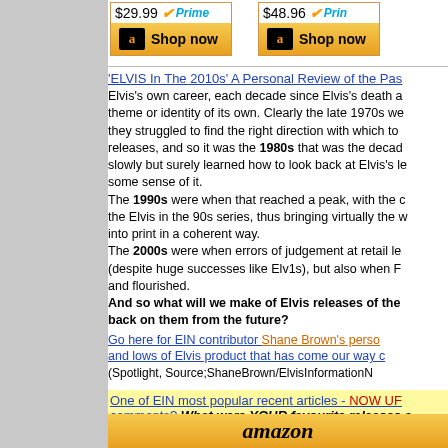[Figure (other): Amazon shop widget showing $29.99 with Prime badge and Shop now button]
[Figure (other): Amazon shop widget showing $48.96 with Prime badge and Shop now button (partially cut off)]
'ELVIS In The 2010s' A Personal Review of the Pas...
Elvis's own career, each decade since Elvis's death a theme or identity of its own. Clearly the late 1970s we they struggled to find the right direction with which to releases, and so it was the 1980s that was the decad slowly but surely learned how to look back at Elvis's le some sense of it. The 1990s were when that reached a peak, with the the Elvis in the 90s series, thus bringing virtually the v into print in a coherent way. The 2000s were when errors of judgement at retail le (despite huge successes like Elv1s), but also when F and flourished. And so what will we make of Elvis releases of the back on them from the future?
Go here for EIN contributor Shane Brown's perso and lows of Elvis product that has come our way (Spotlight, Source;ShaneBrown/ElvisInformationN
One of EIN most popular recent articles - NOW UF comments? What were YOUR favourite releases a
[Figure (logo): Amazon logo at bottom]